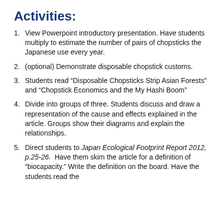Activities:
View Powerpoint introductory presentation. Have students multiply to estimate the number of pairs of chopsticks the Japanese use every year.
(optional) Demonstrate disposable chopstick customs.
Students read “Disposable Chopsticks Strip Asian Forests” and “Chopstick Economics and the My Hashi Boom”
Divide into groups of three. Students discuss and draw a representation of the cause and effects explained in the article. Groups show their diagrams and explain the relationships.
Direct students to Japan Ecological Footprint Report 2012, p.25-26.  Have them skim the article for a definition of “biocapacity.” Write the definition on the board. Have the students read the